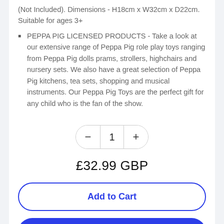(Not Included). Dimensions - H18cm x W32cm x D22cm. Suitable for ages 3+
PEPPA PIG LICENSED PRODUCTS - Take a look at our extensive range of Peppa Pig role play toys ranging from Peppa Pig dolls prams, strollers, highchairs and nursery sets. We also have a great selection of Peppa Pig kitchens, tea sets, shopping and musical instruments. Our Peppa Pig Toys are the perfect gift for any child who is the fan of the show.
1
£32.99 GBP
Add to Cart
Buy it now